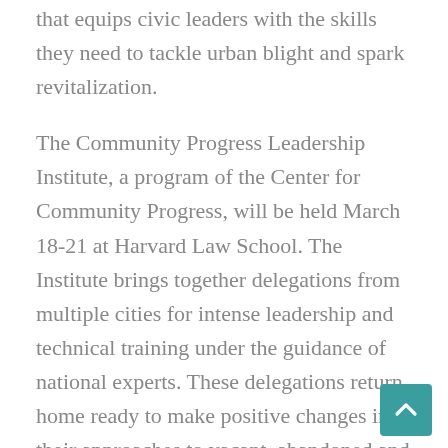that equips civic leaders with the skills they need to tackle urban blight and spark revitalization.
The Community Progress Leadership Institute, a program of the Center for Community Progress, will be held March 18-21 at Harvard Law School. The Institute brings together delegations from multiple cities for intense leadership and technical training under the guidance of national experts. These delegations return home ready to make positive changes in their approaches to vacant, abandoned and problem properties.
Joining Huntington at the CPLI will be Wilmington, Del.; Springfield, Mass.; Battle Creek, Mich.; Jackson, Miss.; Oklahoma City, Detroit and